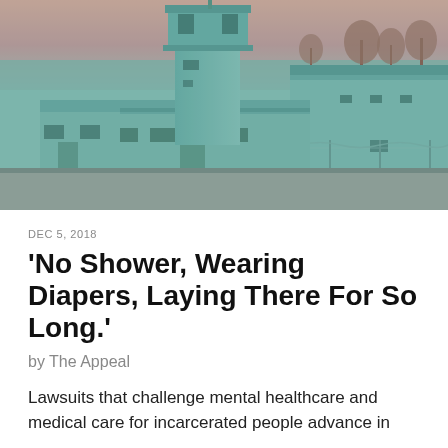[Figure (photo): Teal/green-tinted photograph of a prison facility exterior showing a guard tower, chain-link fence with razor wire, and institutional buildings against a pinkish-orange sky.]
DEC 5, 2018
'No Shower, Wearing Diapers, Laying There For So Long.'
by The Appeal
Lawsuits that challenge mental healthcare and medical care for incarcerated people advance in